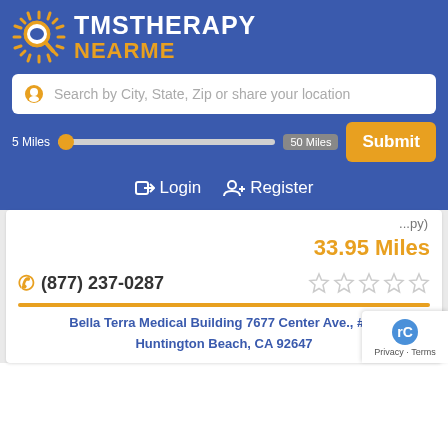[Figure (logo): TMS Therapy Near Me logo with magnifying glass icon and sun rays, white and gold text on blue background]
Search by City, State, Zip or share your location
5 Miles  50 Miles  Submit
Login  Register
33.95 Miles
(877) 237-0287
Bella Terra Medical Building 7677 Center Ave., #40  Huntington Beach, CA 92647